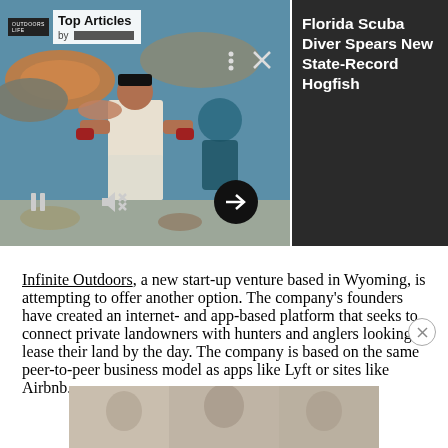[Figure (photo): Man standing in front of a colorful mural of large fish, holding a fish, with a scuba diver mural visible. Photo taken outdoors.]
Florida Scuba Diver Spears New State-Record Hogfish
Infinite Outdoors, a new start-up venture based in Wyoming, is attempting to offer another option. The company's founders have created an internet- and app-based platform that seeks to connect private landowners with hunters and anglers looking to lease their land by the day. The company is based on the same peer-to-peer business model as apps like Lyft or sites like Airbnb.
[Figure (photo): Partially visible image at the bottom of the page, appears to be a fishing or outdoors related photograph, mostly cut off.]